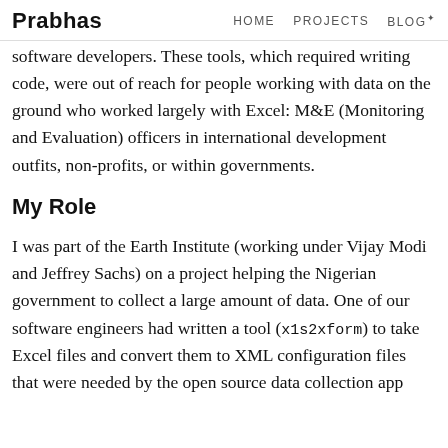Prabhas | HOME  PROJECTS  BLOG
software developers. These tools, which required writing code, were out of reach for people working with data on the ground who worked largely with Excel: M&E (Monitoring and Evaluation) officers in international development outfits, non-profits, or within governments.
My Role
I was part of the Earth Institute (working under Vijay Modi and Jeffrey Sachs) on a project helping the Nigerian government to collect a large amount of data. One of our software engineers had written a tool (x1s2xform) to take Excel files and convert them to XML configuration files that were needed by the open source data collection app